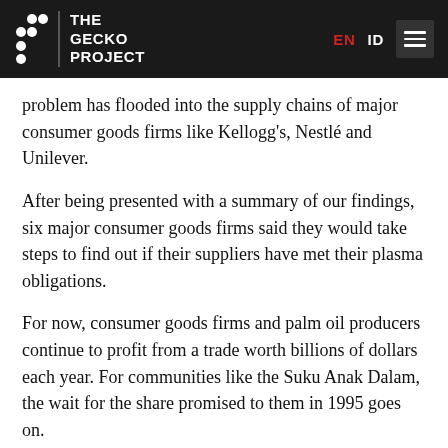THE GECKO PROJECT | EN ID
problem has flooded into the supply chains of major consumer goods firms like Kellogg's, Nestlé and Unilever.
After being presented with a summary of our findings, six major consumer goods firms said they would take steps to find out if their suppliers have met their plasma obligations.
For now, consumer goods firms and palm oil producers continue to profit from a trade worth billions of dollars each year. For communities like the Suku Anak Dalam, the wait for the share promised to them in 1995 goes on.